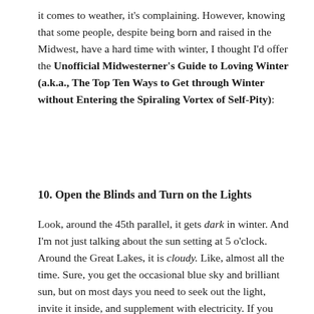it comes to weather, it's complaining. However, knowing that some people, despite being born and raised in the Midwest, have a hard time with winter, I thought I'd offer the Unofficial Midwesterner's Guide to Loving Winter (a.k.a., The Top Ten Ways to Get through Winter without Entering the Spiraling Vortex of Self-Pity):
10. Open the Blinds and Turn on the Lights
Look, around the 45th parallel, it gets dark in winter. And I'm not just talking about the sun setting at 5 o'clock. Around the Great Lakes, it is cloudy. Like, almost all the time. Sure, you get the occasional blue sky and brilliant sun, but on most days you need to seek out the light, invite it inside, and supplement with electricity. If you don't seek out the light, you